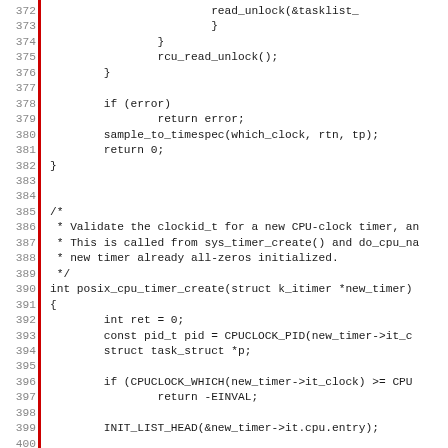[Figure (screenshot): Source code listing lines 372-403 of a C kernel file implementing posix CPU timer functions, with red vertical bar on left margin and grey line numbers]